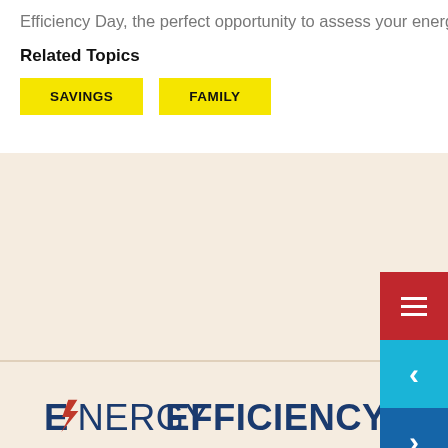Efficiency Day, the perfect opportunity to assess your energy use and start saving.
Related Topics
SAVINGS
FAMILY
[Figure (logo): Energy Efficiency Day logo with lightning bolt, text reads ENERGY EFFICIENCY DA, tagline: Save energy. Save money.]
Because saving energy and money go hand in hand, the non-profit Consumer Federation of America came up with 12 simple ways to save both. Join thousands of organizations, companies, and individuals in a nationwide effort to become